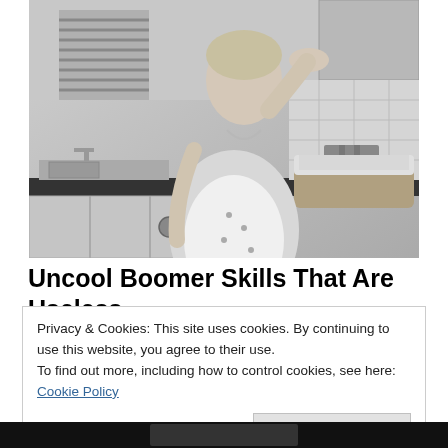[Figure (photo): Black and white vintage photo of a woman in a floral apron standing in a kitchen, hand raised to her forehead in an exhausted or overwhelmed pose, with a laundry basket on the counter behind her.]
Uncool Boomer Skills That Are Useless
Privacy & Cookies: This site uses cookies. By continuing to use this website, you agree to their use.
To find out more, including how to control cookies, see here: Cookie Policy
Close and accept
[Figure (photo): Partial bottom strip showing a dark/black image, partially visible at the very bottom of the page.]